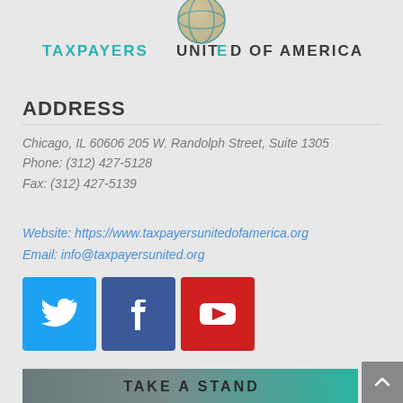[Figure (logo): Taxpayers United of America logo with globe icon and teal/dark text]
ADDRESS
Chicago, IL 60606 205 W. Randolph Street, Suite 1305
Phone: (312) 427-5128
Fax: (312) 427-5139
Website: https://www.taxpayersunitedofamerica.org
Email: info@taxpayersunited.org
[Figure (infographic): Three social media icons: Twitter (blue bird), Facebook (blue f), YouTube (red play button)]
Donate
[Figure (infographic): Banner with teal/gray gradient background and text 'TAKE A STAND']